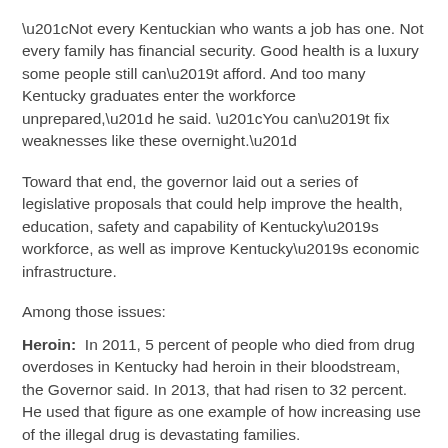“Not every Kentuckian who wants a job has one. Not every family has financial security. Good health is a luxury some people still can’t afford. And too many Kentucky graduates enter the workforce unprepared,” he said. “You can’t fix weaknesses like these overnight.”
Toward that end, the governor laid out a series of legislative proposals that could help improve the health, education, safety and capability of Kentucky’s workforce, as well as improve Kentucky’s economic infrastructure.
Among those issues:
Heroin: In 2011, 5 percent of people who died from drug overdoses in Kentucky had heroin in their bloodstream, the Governor said. In 2013, that had risen to 32 percent. He used that figure as one example of how increasing use of the illegal drug is devastating families.
Gov. Beshear urged the legislature to pass comprehensive legislation that does a variety of things, including expanding